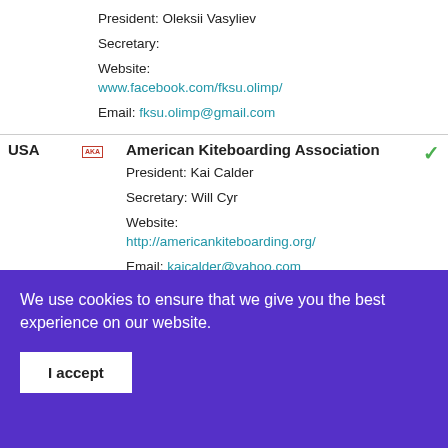President: Oleksii Vasyliev
Secretary:
Website: www.facebook.com/fksu.olimp/
Email: fksu.olimp@gmail.com
| Country | Logo | Organization Info | Verified |
| --- | --- | --- | --- |
| USA | AKA | American Kiteboarding Association
President: Kai Calder
Secretary: Will Cyr
Website: http://americankiteboarding.org/
Email: kaicalder@yahoo.com | ✓ |
We use cookies to ensure that we give you the best experience on our website.
I accept